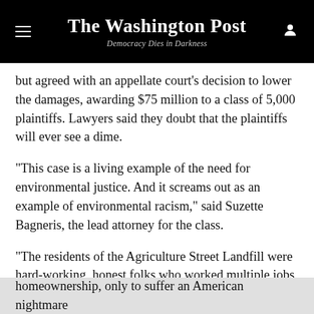The Washington Post — Democracy Dies in Darkness
but agreed with an appellate court's decision to lower the damages, awarding $75 million to a class of 5,000 plaintiffs. Lawyers said they doubt that the plaintiffs will ever see a dime.
“This case is a living example of the need for environmental justice. And it screams out as an example of environmental racism,” said Suzette Bagneris, the lead attorney for the class.
“The residents of the Agriculture Street Landfill were hard-working, honest folks who worked multiple jobs
homeownership, only to suffer an American nightmare